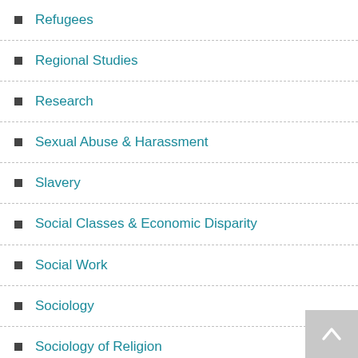Refugees
Regional Studies
Research
Sexual Abuse & Harassment
Slavery
Social Classes & Economic Disparity
Social Work
Sociology
Sociology of Religion